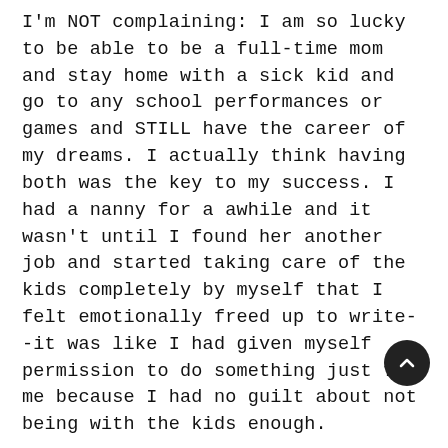I'm NOT complaining: I am so lucky to be able to be a full-time mom and stay home with a sick kid and go to any school performances or games and STILL have the career of my dreams. I actually think having both was the key to my success. I had a nanny for a awhile and it wasn't until I found her another job and started taking care of the kids completely by myself that I felt emotionally freed up to write--it was like I had given myself permission to do something just for me because I had no guilt about not being with the kids enough.
Selling my first novel was literally a dream come true. I was a huge reader as a kid and all I ever wanted to be when I grew up was a writer. Seriously: I had no other ambitions (or abilities). It wasn't easy. I had two novels with two agents that never sold and it wasn't until this third agent and